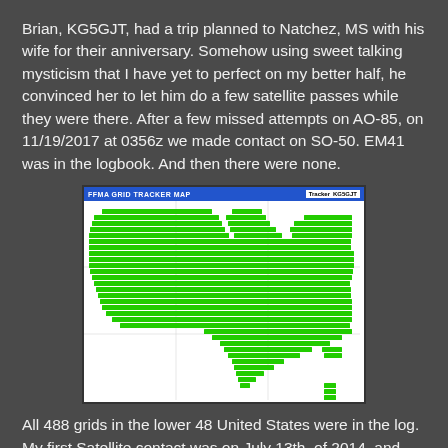Brian, KG5GJT, had a trip planned to Natchez, MS with his wife for their anniversary. Somehow using sweet talking mysticism that I have yet to perfect on my better half, he convinced her to let him do a few satellite passes while they were there. After a few missed attempts on AO-85, on 11/19/2017 at 0356z we made contact on SO-50. EM41 was in the logbook. And then there were none.
[Figure (screenshot): FFMA GRID TRACKER MAP showing a map of the United States with green grid squares filled in, representing completed amateur radio satellite contacts across all 488 grids in the lower 48 states.]
All 488 grids in the lower 48 United States were in the log. My first Satellite contact was on July 13th, of 2014, and after making slightly over 4800 QSOs, on the birds 3+ year and 4...